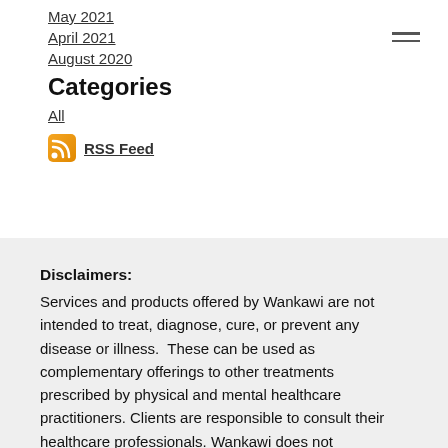May 2021
April 2021
August 2020
Categories
All
RSS Feed
Disclaimers:
Services and products offered by Wankawi are not intended to treat, diagnose, cure, or prevent any disease or illness.  These can be used as complementary offerings to other treatments prescribed by physical and mental healthcare practitioners. Clients are responsible to consult their healthcare professionals. Wankawi does not recommend clients to work with plant medicines. Wankawi only supports clients who have...